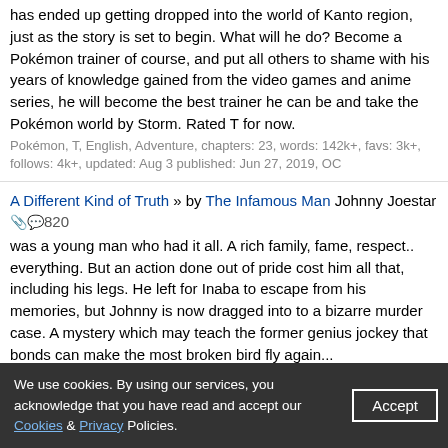has ended up getting dropped into the world of Kanto region, just as the story is set to begin. What will he do? Become a Pokémon trainer of course, and put all others to shame with his years of knowledge gained from the video games and anime series, he will become the best trainer he can be and take the Pokémon world by Storm. Rated T for now.
Pokémon, T, English, Adventure, chapters: 23, words: 142k+, favs: 3k+, follows: 4k+, updated: Aug 3 published: Jun 27, 2019, OC
A Different Kind of Truth » by The Infamous Man Johnny Joestar 🔖💬820 was a young man who had it all. A rich family, fame, respect.. everything. But an action done out of pride cost him all that, including his legs. He left for Inaba to escape from his memories, but Johnny is now dragged into to a bizarre murder case. A mystery which may teach the former genius jockey that bonds can make the most broken bird fly again...
JoJo's Bizarre Adventure & Persona Series, T, English, Drama & Supernatural, chapters: 57, words: 655k+, favs: 879, follows: 916, updated: Jul 26 published: Jan 5, 2014, Johnny J., Gyro Z., Chie S., Izanagi
How Eating a Strange Fruit Gave Me My Quirk » by azndrgn Straight 💬2k+ from the poll! Izuku was quirkless... until he ate a strange fruit that gave him a quirk! Now with a quirk, he will strive to become the greatest Hero! Strong Izuku, Izuku x harem due to poll. Slight One Piece x-over for just the devil fruit.
My Hero Academia/僕のヒーローアカデミア, M, English, Romance & Adventure, chapters: 34, words: 348k+, favs: 8k+, follows: 9k+, updated: Jul 21 published: Sep 21, 2018, [Izuku M., Itsuka K., Momo Y., Ochako U.]
A Devil's Diamond » by Mugiwara N0 Luffy Issei and Josuke 🔖💬1k+
We use cookies. By using our services, you acknowledge that you have read and accept our Cookies & Privacy Policies.